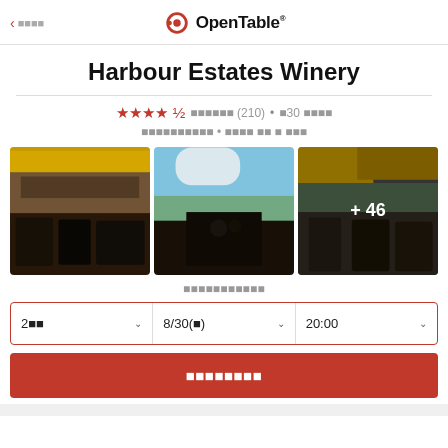< 戻る | OpenTable
Harbour Estates Winery
★★★★½ レビュー (210) • ¥30 程度
カジュアルダイニング • テイクアウト & デリバリー
[Figure (photo): Three restaurant outdoor patio photos: left shows winery exterior with yellow umbrellas and black metal furniture; center shows outdoor patio view with fields in background; right shows yellow umbrella and patio with +46 overlay indicating more photos]
すべての写真を見る
2名様  8/30(日)  20:00
予約を検索する